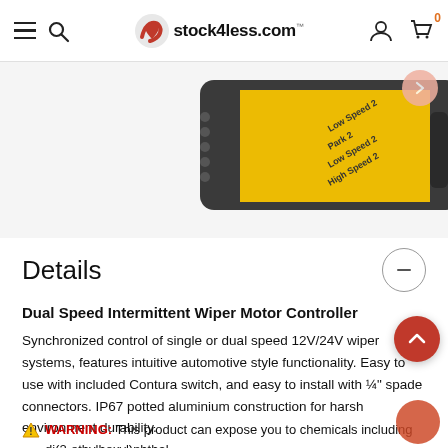stock4less.com
[Figure (photo): Dual Speed Intermittent Wiper Motor Controller product image on a light gray background, showing a black and yellow labeled module with connectors.]
Details
Dual Speed Intermittent Wiper Motor Controller
Synchronized control of single or dual speed 12V/24V wiper systems, features intuitive automotive style functionality. Easy to use with included Contura switch, and easy to install with ¼" spade connectors. IP67 potted aluminium construction for harsh environment durability.
WARNING: This product can expose you to chemicals including di(2-ethylhexyl)phthalate (deh...)